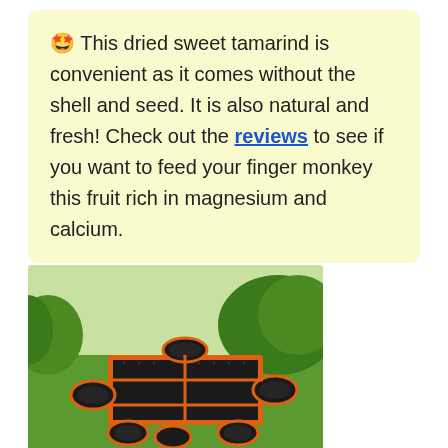🤩 This dried sweet tamarind is convenient as it comes without the shell and seed. It is also natural and fresh! Check out the reviews to see if you want to feed your finger monkey this fruit rich in magnesium and calcium.
[Figure (photo): A black mesh pet playpen or enclosure with orange trim/piping, shaped like an octagon with attached tunnel loops, sitting on green grass outdoors.]